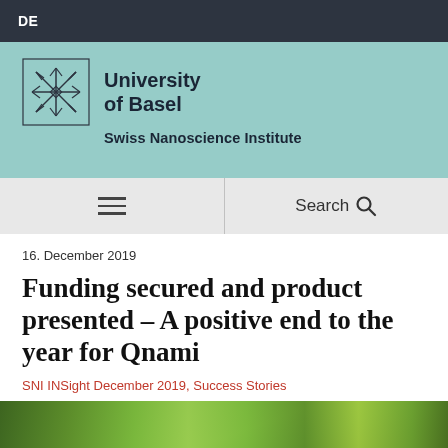DE
[Figure (logo): University of Basel logo with snowflake/star pattern icon and text 'University of Basel', subtitle 'Swiss Nanoscience Institute']
Search
16. December 2019
Funding secured and product presented – A positive end to the year for Qnami
SNI INSight December 2019, Success Stories
[Figure (photo): Green foliage/tree leaves photo at bottom of page]